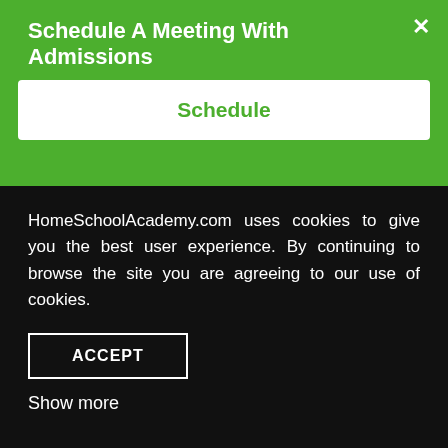Schedule A Meeting With Admissions
Schedule
State Specific Homeschooling Resources
Alabama
Alaska
HomeSchoolAcademy.com uses cookies to give you the best user experience. By continuing to browse the site you are agreeing to our use of cookies.
ACCEPT
Show more